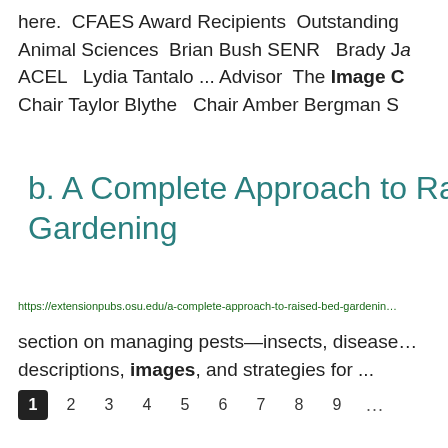here.  CFAES Award Recipients  Outstanding Animal Sciences  Brian Bush SENR   Brady Ja ACEL   Lydia Tantalo ... Advisor  The Image C Chair Taylor Blythe  Chair Amber Bergman S
b. A Complete Approach to Rai… Gardening
https://extensionpubs.osu.edu/a-complete-approach-to-raised-bed-gardenin…
section on managing pests—insects, disease… descriptions, images, and strategies for ...
1  2  3  4  5  6  7  8  9  ...